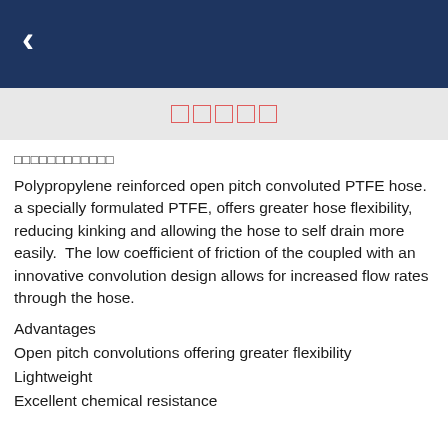[Figure (other): Dark navy blue header navigation bar with a white left-pointing chevron back arrow icon]
□□□□□
□□□□□□□□□□□□
Polypropylene reinforced open pitch convoluted PTFE hose. a specially formulated PTFE, offers greater hose flexibility, reducing kinking and allowing the hose to self drain more easily.  The low coefficient of friction of the coupled with an innovative convolution design allows for increased flow rates through the hose.
Advantages
Open pitch convolutions offering greater flexibility
Lightweight
Excellent chemical resistance